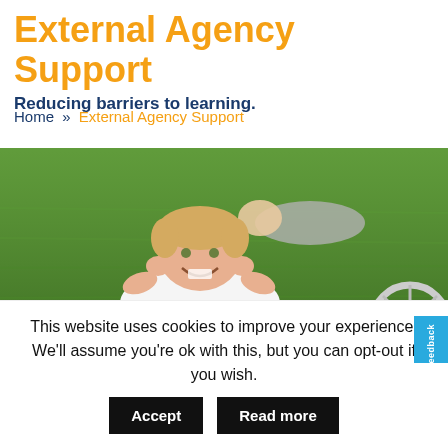External Agency Support
Reducing barriers to learning.
Home » External Agency Support
[Figure (photo): A smiling young girl lying on grass, propping her chin on her hands, wearing a white school shirt. A wheelchair wheel is partially visible to the right. Another person is lying in the background.]
This website uses cookies to improve your experience. We'll assume you're ok with this, but you can opt-out if you wish.
Accept
Read more